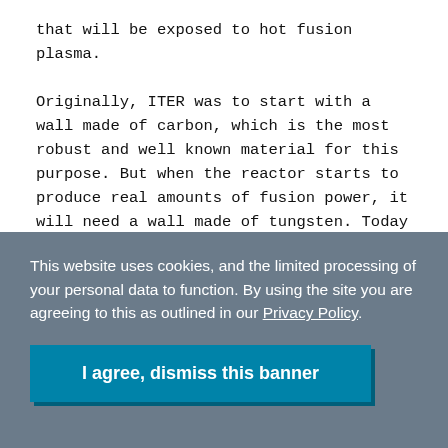that will be exposed to hot fusion plasma.

Originally, ITER was to start with a wall made of carbon, which is the most robust and well known material for this purpose. But when the reactor starts to produce real amounts of fusion power, it will need a wall made of tungsten. Today there is little experience with tungsten walls. They can melt under certain circumstances and scientists worried that the debris might reduce the plasma power. The tests conducted at JET proved that molten
This website uses cookies, and the limited processing of your personal data to function. By using the site you are agreeing to this as outlined in our Privacy Policy.
I agree, dismiss this banner